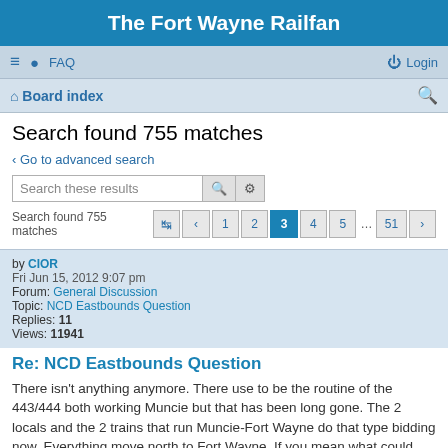The Fort Wayne Railfan
≡  FAQ   Login
⌂ Board index   🔍
Search found 755 matches
‹ Go to advanced search
Search these results
Search found 755 matches  ↪ ‹ 1 2 3 4 5 … 51 ›
by CIOR
Fri Jun 15, 2012 9:07 pm
Forum: General Discussion
Topic: NCD Eastbounds Question
Replies: 11
Views: 11941
Re: NCD Eastbounds Question
There isn't anything anymore. There use to be the routine of the 443/444 both working Muncie but that has been long gone. The 2 locals and the 2 trains that run Muncie-Fort Wayne do that type bidding now. Everything move north to Fort Wayne. If you mean what could possibly pick up at Muncie and go s...
Jump to post ›